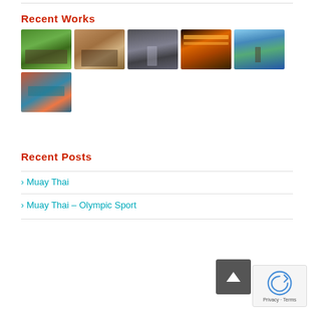Recent Works
[Figure (photo): Six thumbnail photos in a grid: outdoor Muay Thai training in a park, Muay Thai fighters in a ring, a gym interior with a figure, a busy night market with lights, a mountain landscape with temple, and a canyon/river landscape from above.]
Recent Posts
> Muay Thai
> Muay Thai – Olympic Sport